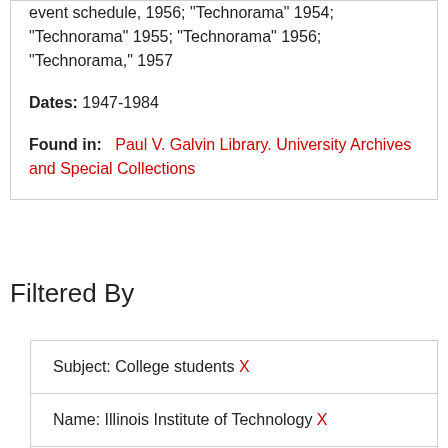event schedule, 1956; "Technorama" 1954; "Technorama" 1955; "Technorama" 1956; "Technorama," 1957
Dates: 1947-1984
Found in: Paul V. Galvin Library. University Archives and Special Collections
Filtered By
Subject: College students X
Name: Illinois Institute of Technology X
Name: Illinois Institute of Technology. Office of Marketing and